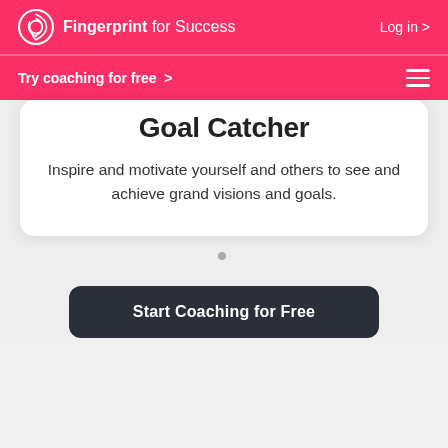Fingerprint for Success  Log in >
Try coaching for free >
Goal Catcher
Inspire and motivate yourself and others to see and achieve grand visions and goals.
[Figure (other): Dark rounded button with white text: Start Coaching for Free]